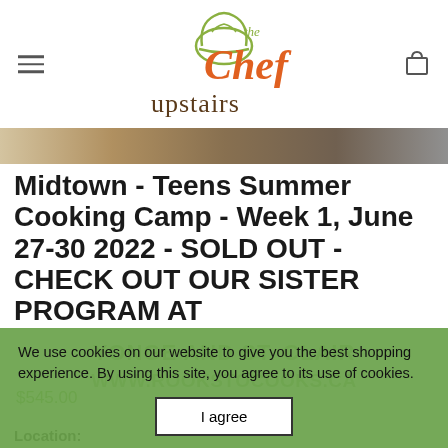[Figure (logo): The Chef Upstairs logo with chef hat graphic, olive/orange script text 'the Chef' and brown serif text 'upstairs']
[Figure (photo): Narrow horizontal strip showing food/cooking scene background image]
Midtown - Teens Summer Cooking Camp - Week 1, June 27-30 2022 - SOLD OUT - CHECK OUT OUR SISTER PROGRAM AT YONGE AND ST. CLAIR www.rookstocooks.ca
$545.00
We use cookies on our website to give you the best shopping experience. By using this site, you agree to its use of cookies.
I agree
Location: